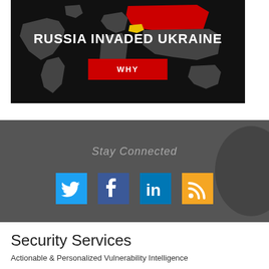[Figure (infographic): World map on black background with Russia highlighted in red and Ukraine highlighted in yellow. Bold white text reads 'RUSSIA INVADED UKRAINE' with a red button labeled 'WHY'.]
Stay Connected
[Figure (infographic): Social media icons: Twitter (blue bird), Facebook (blue f), LinkedIn (blue in), RSS (orange wifi-style icon)]
Security Services
Actionable & Personalized Vulnerability Intelligence